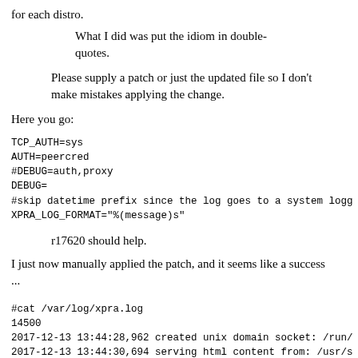for each distro.
What I did was put the idiom in double-quotes.
Please supply a patch or just the updated file so I don't make mistakes applying the change.
Here you go:
TCP_AUTH=sys
AUTH=peercred
#DEBUG=auth,proxy
DEBUG=
#skip datetime prefix since the log goes to a system logg
XPRA_LOG_FORMAT="%(message)s"
r17620 should help.
I just now manually applied the patch, and it seems like a success ...
#cat /var/log/xpra.log
14500
2017-12-13 13:44:28,962 created unix domain socket: /run/
2017-12-13 13:44:30,694 serving html content from: /usr/s
2017-12-13 13:44:30,724 xpra proxy version 2.3-r17613 64-
2017-12-13 13:44:30,725  uid=0 (root),  gid=0 (root)